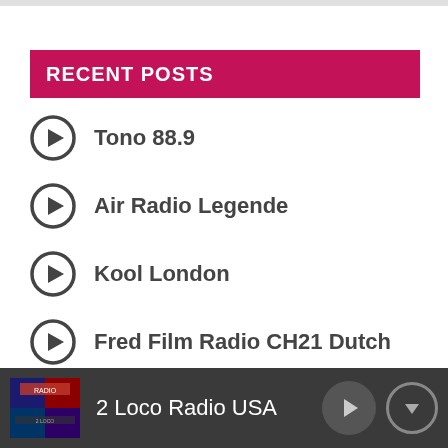RECENT POSTS
Tono 88.9
Air Radio Legende
Kool London
Fred Film Radio CH21 Dutch
Tropiques FM
2 Loco Radio USA